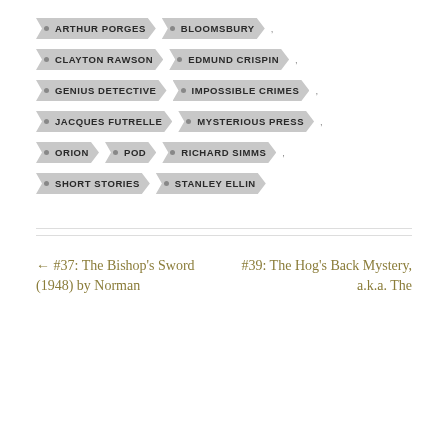ARTHUR PORGES
BLOOMSBURY
CLAYTON RAWSON
EDMUND CRISPIN
GENIUS DETECTIVE
IMPOSSIBLE CRIMES
JACQUES FUTRELLE
MYSTERIOUS PRESS
ORION
POD
RICHARD SIMMS
SHORT STORIES
STANLEY ELLIN
← #37: The Bishop's Sword (1948) by Norman
#39: The Hog's Back Mystery, a.k.a. The